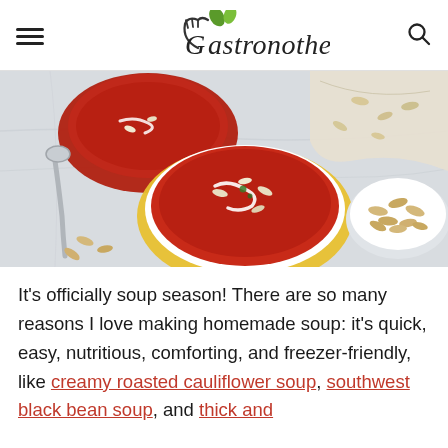Gastronotherapy
[Figure (photo): Overhead view of bowls of red tomato soup garnished with cream and seeds, a spoon, scattered seeds, and a small bowl of seeds on a marble surface.]
It's officially soup season! There are so many reasons I love making homemade soup: it's quick, easy, nutritious, comforting, and freezer-friendly, like creamy roasted cauliflower soup, southwest black bean soup, and thick and